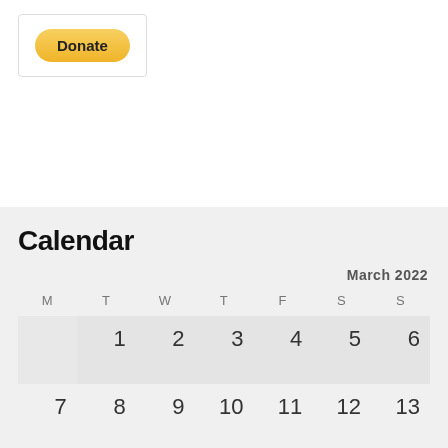[Figure (other): Donate button inside a bordered box — PayPal-style yellow oval button with bold 'Donate' text]
Calendar
| M | T | W | T | F | S | S |
| --- | --- | --- | --- | --- | --- | --- |
|  | 1 | 2 | 3 | 4 | 5 | 6 |
| 7 | 8 | 9 | 10 | 11 | 12 | 13 |